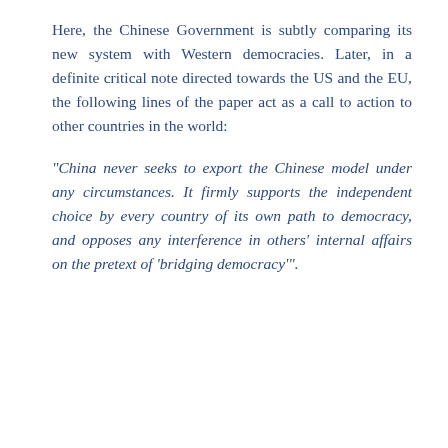Here, the Chinese Government is subtly comparing its new system with Western democracies. Later, in a definite critical note directed towards the US and the EU, the following lines of the paper act as a call to action to other countries in the world:
"China never seeks to export the Chinese model under any circumstances. It firmly supports the independent choice by every country of its own path to democracy, and opposes any interference in others' internal affairs on the pretext of 'bridging democracy'".